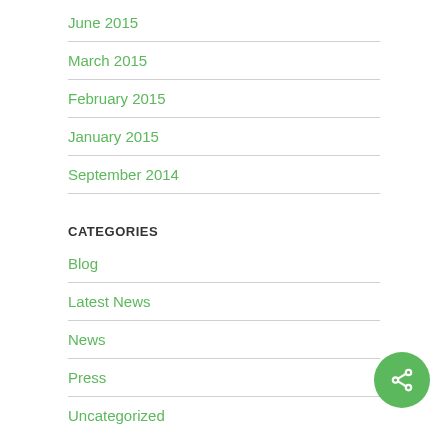June 2015
March 2015
February 2015
January 2015
September 2014
CATEGORIES
Blog
Latest News
News
Press
Uncategorized